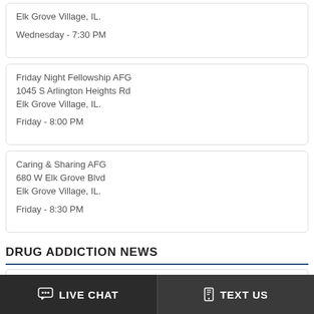Elk Grove Village, IL.
Wednesday - 7:30 PM
Friday Night Fellowship AFG
1045 S Arlington Heights Rd
Elk Grove Village, IL.
Friday - 8:00 PM
Caring & Sharing AFG
680 W Elk Grove Blvd
Elk Grove Village, IL.
Friday - 8:30 PM
DRUG ADDICTION NEWS
ALLEGED NJ DRUG LORD ARRESTED IN COLOMBIA.
ELIZABETH, New Jersey - Colombian authorities have arrested a former Union County,New Jersey man suspected of leading of a notorious
LIVE CHAT   TEXT US